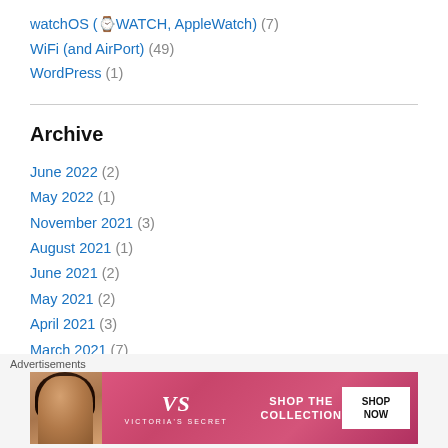watchOS (⌚WATCH, AppleWatch) (7)
WiFi (and AirPort) (49)
WordPress (1)
Archive
June 2022 (2)
May 2022 (1)
November 2021 (3)
August 2021 (1)
June 2021 (2)
May 2021 (2)
April 2021 (3)
March 2021 (7)
February 2021 (1)
January 2021 (2)
[Figure (infographic): Victoria's Secret advertisement banner showing a model with curly hair, the VS logo, text 'SHOP THE COLLECTION', and a 'SHOP NOW' button]